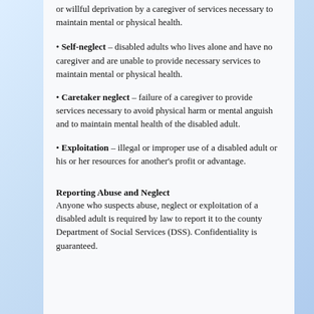or willful deprivation by a caregiver of services necessary to maintain mental or physical health.
Self-neglect – disabled adults who lives alone and have no caregiver and are unable to provide necessary services to maintain mental or physical health.
Caretaker neglect – failure of a caregiver to provide services necessary to avoid physical harm or mental anguish and to maintain mental health of the disabled adult.
Exploitation – illegal or improper use of a disabled adult or his or her resources for another's profit or advantage.
Reporting Abuse and Neglect
Anyone who suspects abuse, neglect or exploitation of a disabled adult is required by law to report it to the county Department of Social Services (DSS). Confidentiality is guaranteed.